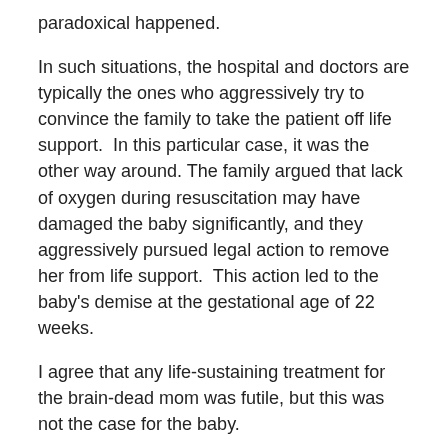paradoxical happened.
In such situations, the hospital and doctors are typically the ones who aggressively try to convince the family to take the patient off life support.  In this particular case, it was the other way around. The family argued that lack of oxygen during resuscitation may have damaged the baby significantly, and they aggressively pursued legal action to remove her from life support.  This action led to the baby's demise at the gestational age of 22 weeks.
I agree that any life-sustaining treatment for the brain-dead mom was futile, but this was not the case for the baby.
Keeping the mom on life-support, keeps the baby alive.